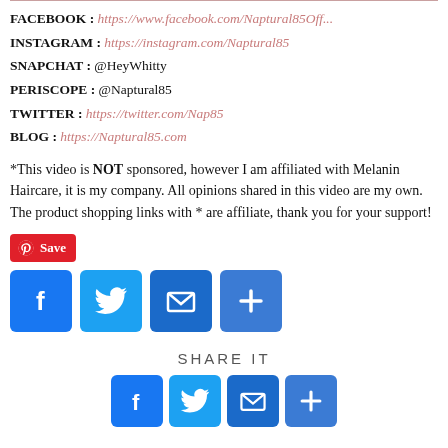FACEBOOK : https://www.facebook.com/Naptural85Off...
INSTAGRAM : https://instagram.com/Naptural85
SNAPCHAT : @HeyWhitty
PERISCOPE : @Naptural85
TWITTER : https://twitter.com/Nap85
BLOG : https://Naptural85.com
*This video is NOT sponsored, however I am affiliated with Melanin Haircare, it is my company. All opinions shared in this video are my own. The product shopping links with * are affiliate, thank you for your support!
[Figure (infographic): Save button (Pinterest style, red background) and social sharing icons: Facebook (blue), Twitter (light blue), Email (blue), Share/Plus (blue)]
SHARE IT
[Figure (infographic): Bottom row of social sharing icons: Facebook, Twitter, and others partially visible]